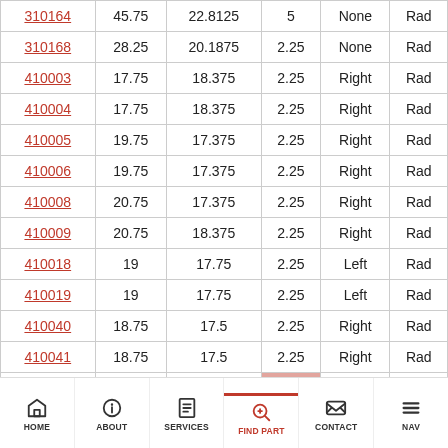| 310164 | 45.75 | 22.8125 | 5 | None | Rad |
| 310168 | 28.25 | 20.1875 | 2.25 | None | Rad |
| 410003 | 17.75 | 18.375 | 2.25 | Right | Rad |
| 410004 | 17.75 | 18.375 | 2.25 | Right | Rad |
| 410005 | 19.75 | 17.375 | 2.25 | Right | Rad |
| 410006 | 19.75 | 17.375 | 2.25 | Right | Rad |
| 410008 | 20.75 | 17.375 | 2.25 | Right | Rad |
| 410009 | 20.75 | 18.375 | 2.25 | Right | Rad |
| 410018 | 19 | 17.75 | 2.25 | Left | Rad |
| 410019 | 19 | 17.75 | 2.25 | Left | Rad |
| 410040 | 18.75 | 17.5 | 2.25 | Right | Rad |
| 410041 | 18.75 | 17.5 | 2.25 | Right | Rad |
| 410054 | 18.75 | 17.5 | 2.25 | Right | Rad |
HOME   ABOUT   SERVICES   FIND PART   CONTACT   NAV